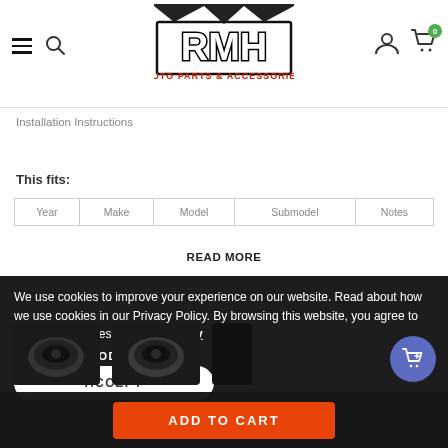RMH AUTO PARTS & ACCESSORIES — Navigation header with logo, hamburger menu, search, account icon, cart (0)
Installation Instructions
This fits:
| Year | Make | Model | Submodel | Notes |
| --- | --- | --- | --- | --- |
READ MORE
We use cookies to improve your experience on our website. Read about how we use cookies in our Privacy Policy. By browsing this website, you agree to our use of cookies. Privacy Policy
RELATED PRODUCTS
ACCEPT
[Figure (photo): Product images (auto parts) shown at bottom of page]
ADD TO CART